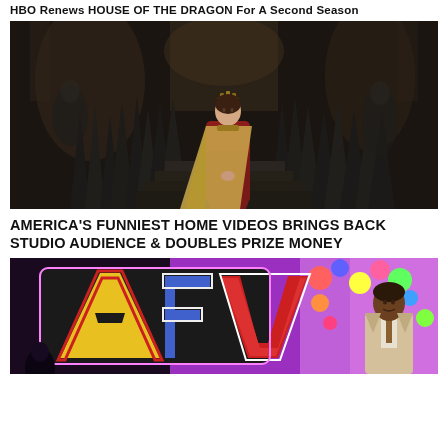HBO Renews HOUSE OF THE DRAGON For A Second Season
[Figure (photo): A young woman in a red gown and gold crown stands before the Iron Throne in a dark, gothic throne room — a still from HBO's House of the Dragon.]
AMERICA'S FUNNIEST HOME VIDEOS BRINGS BACK STUDIO AUDIENCE & DOUBLES PRIZE MONEY
[Figure (photo): Colorful AFV logo sign on a bright studio set with a host in a light-colored suit standing to the right against a purple-lit background — a still from America's Funniest Home Videos.]